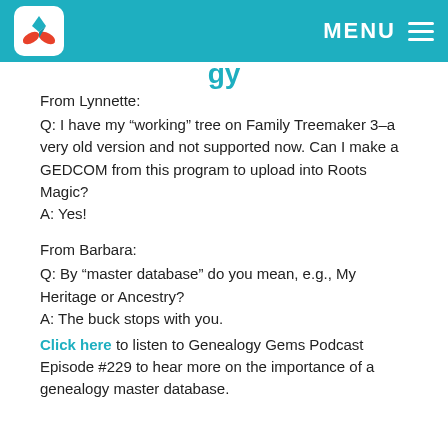MENU
From Lynnette:
Q: I have my “working” tree on Family Treemaker 3–a very old version and not supported now. Can I make a GEDCOM from this program to upload into Roots Magic?
A: Yes!
From Barbara:
Q: By “master database” do you mean, e.g., My Heritage or Ancestry?
A: The buck stops with you.
Click here to listen to Genealogy Gems Podcast Episode #229 to hear more on the importance of a genealogy master database.